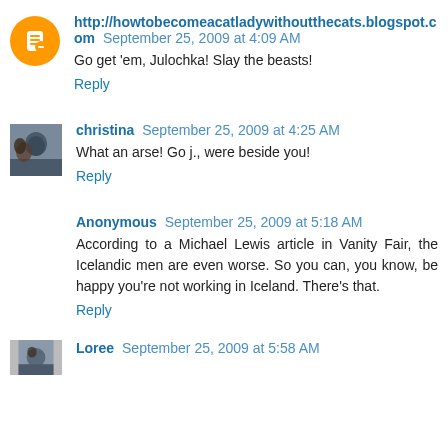http://howtobecomeacatladywithoutthecats.blogspot.com September 25, 2009 at 4:09 AM
Go get 'em, Julochka! Slay the beasts!
Reply
christina September 25, 2009 at 4:25 AM
What an arse! Go j., were beside you!
Reply
Anonymous September 25, 2009 at 5:18 AM
According to a Michael Lewis article in Vanity Fair, the Icelandic men are even worse. So you can, you know, be happy you're not working in Iceland. There's that.
Reply
Loree September 25, 2009 at 5:58 AM